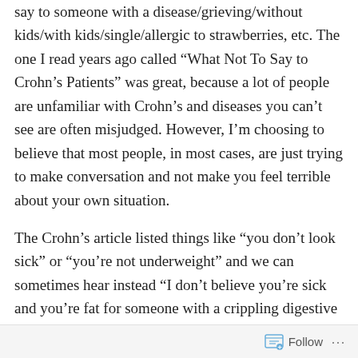say to someone with a disease/grieving/without kids/with kids/single/allergic to strawberries, etc. The one I read years ago called “What Not To Say to Crohn’s Patients” was great, because a lot of people are unfamiliar with Crohn’s and diseases you can’t see are often misjudged. However, I’m choosing to believe that most people, in most cases, are just trying to make conversation and not make you feel terrible about your own situation.
The Crohn’s article listed things like “you don’t look sick” or “you’re not underweight” and we can sometimes hear instead “I don’t believe you’re sick and you’re fat for someone with a crippling digestive problem”. But the more I find myself in the wrong on other “What Not To Say” lists, the more I think other people most likely mean “you are hiding your illness well under a healthy smile and I’m glad you’re not wasting away”.
Follow